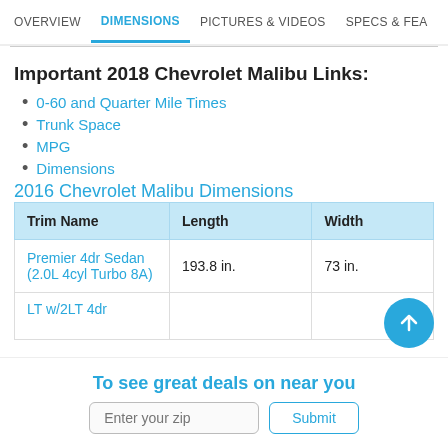OVERVIEW | DIMENSIONS | PICTURES & VIDEOS | SPECS & FEA
Important 2018 Chevrolet Malibu Links:
0-60 and Quarter Mile Times
Trunk Space
MPG
Dimensions
2016 Chevrolet Malibu Dimensions
| Trim Name | Length | Width |
| --- | --- | --- |
| Premier 4dr Sedan (2.0L 4cyl Turbo 8A) | 193.8 in. | 73 in. |
| LT w/2LT 4dr |  |  |
To see great deals on near you